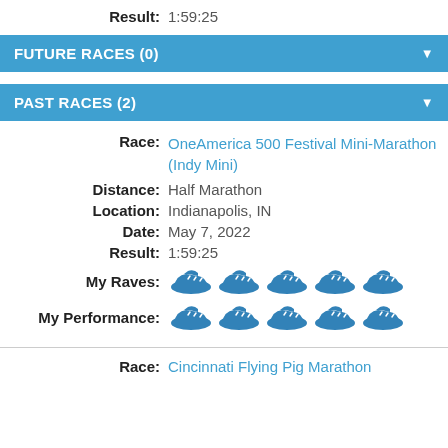Result: 1:59:25
FUTURE RACES (0)
PAST RACES (2)
Race: OneAmerica 500 Festival Mini-Marathon (Indy Mini)
Distance: Half Marathon
Location: Indianapolis, IN
Date: May 7, 2022
Result: 1:59:25
My Raves: 5 shoes
My Performance: 5 shoes
Race: Cincinnati Flying Pig Marathon